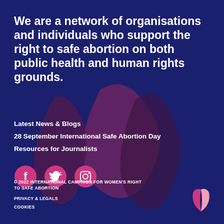We are a network of organisations and individuals who support the right to safe abortion on both public health and human rights grounds.
Latest News & Blogs
28 September International Safe Abortion Day
Resources for Journalists
[Figure (logo): Social media icons: Facebook, Twitter, Instagram (pink circles with white icons)]
© 2022 INTERNATIONAL CAMPAIGN FOR WOMEN'S RIGHT TO SAFE ABORTION
PRIVACY & LEGALS
COOKIES
[Figure (logo): Organization logo mark: pink and light pink geometric shape resembling a V or leaf]